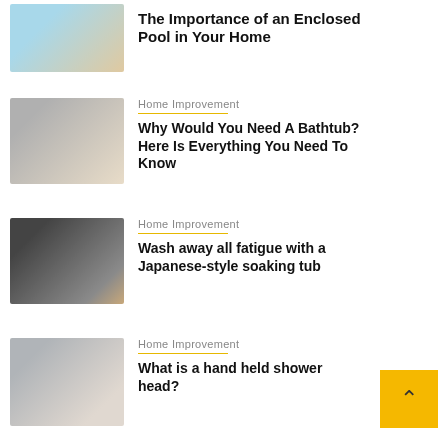[Figure (photo): Partial view of an outdoor/indoor pool area with blue water]
The Importance of an Enclosed Pool in Your Home
[Figure (photo): Woman sitting in a large bathtub near floor-to-ceiling windows with a rocky view]
Home Improvement
Why Would You Need A Bathtub? Here Is Everything You Need To Know
[Figure (photo): Japanese-style soaking tub on a wooden platform against a dark wall]
Home Improvement
Wash away all fatigue with a Japanese-style soaking tub
[Figure (photo): Woman using a handheld shower head]
Home Improvement
What is a hand held shower head?